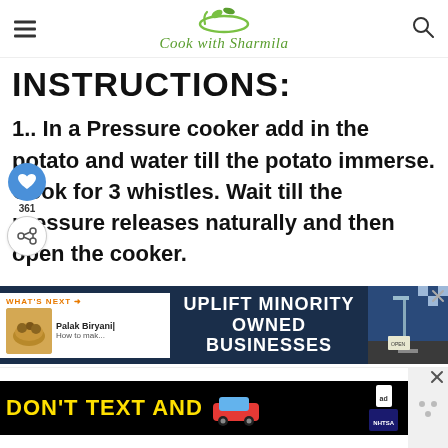Cook with Sharmila
INSTRUCTIONS:
1.. In a Pressure cooker add in the potato and water till the potato immerse. Cook for 3 whistles. Wait till the pressure releases naturally and then open the cooker.
[Figure (screenshot): Advertisement banner: UPLIFT MINORITY OWNED BUSINESSES with food image and city graphic]
[Figure (screenshot): Advertisement banner: DON'T TEXT AND [drive] with red car illustration and NHTSA logo]